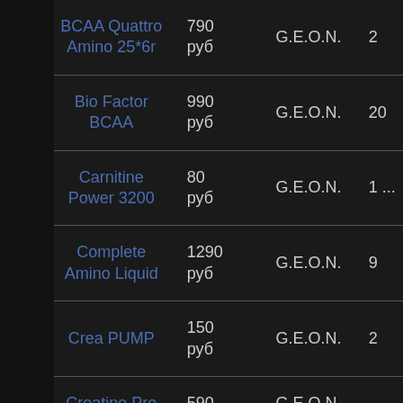| Product | Price | Brand |  |
| --- | --- | --- | --- |
| BCAA Quattro Amino 25*6r | 790 руб | G.E.O.N. | 2... |
| Bio Factor BCAA | 990 руб | G.E.O.N. | 20... |
| Carnitine Power 3200 | 80 руб | G.E.O.N. | 1 ... |
| Complete Amino Liquid | 1290 руб | G.E.O.N. | 9... |
| Crea PUMP | 150 руб | G.E.O.N. | 2... |
| Creatine Pro | 590 руб | G.E.O.N. | ... |